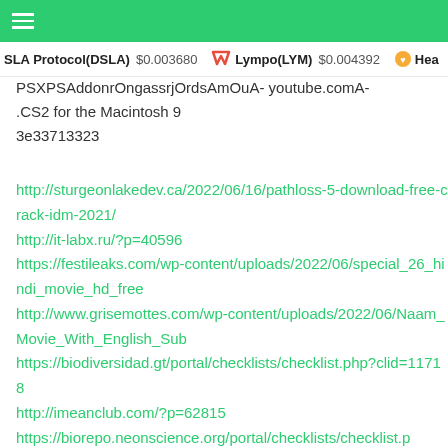Navigation menu bar with hamburger icon, green background
DSLA Protocol(DSLA) $0.003680 | Lympo(LYM) $0.004392 | Hea...
PSXPSAddonrOngassrjOrdsAmOuA- youtube.comA-
.CS2 for the Macintosh 9
3e33713323
http://sturgeonlakedev.ca/2022/06/16/pathloss-5-download-free-crack-idm-2021/
http://it-labx.ru/?p=40596
https://festileaks.com/wp-content/uploads/2022/06/special_26_hindi_movie_hd_free
http://www.grisemottes.com/wp-content/uploads/2022/06/Naam_Movie_With_English_Sub
https://biodiversidad.gt/portal/checklists/checklist.php?clid=11718
http://imeanclub.com/?p=62815
https://biorepo.neonscience.org/portal/checklists/checklist.p
clid=7205
http://wadimakkah.co/blog/index.php?entryid=420